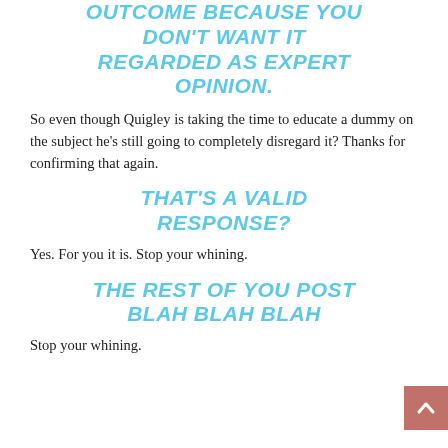OUTCOME BECAUSE YOU DON'T WANT IT REGARDED AS EXPERT OPINION.
So even though Quigley is taking the time to educate a dummy on the subject he's still going to completely disregard it? Thanks for confirming that again.
THAT'S A VALID RESPONSE?
Yes. For you it is. Stop your whining.
THE REST OF YOU POST BLAH BLAH BLAH
Stop your whining.